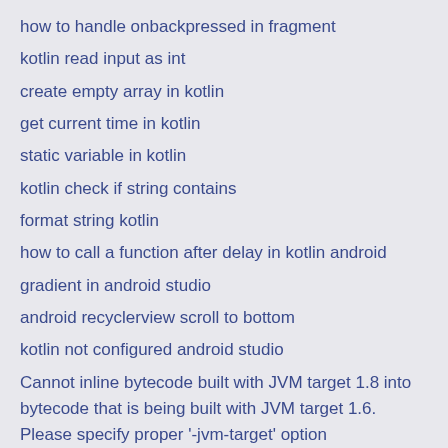how to handle onbackpressed in fragment
kotlin read input as int
create empty array in kotlin
get current time in kotlin
static variable in kotlin
kotlin check if string contains
format string kotlin
how to call a function after delay in kotlin android
gradient in android studio
android recyclerview scroll to bottom
kotlin not configured android studio
Cannot inline bytecode built with JVM target 1.8 into bytecode that is being built with JVM target 1.6. Please specify proper '-jvm-target' option